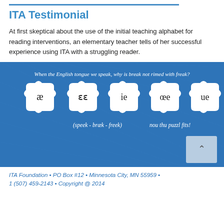ITA Testimonial
At first skeptical about the use of the initial teaching alphabet for reading interventions, an elementary teacher tells of her successful experience using ITA with a struggling reader.
[Figure (illustration): Blue banner with puzzle pieces showing ITA phonetic symbols (æ, ee, ie, oe, ue). Text reads: 'When the English tongue we speak, why is break not rimed with freak?' and '(speek - bræk - freek)  nou thu puzzl fits!']
ITA Foundation • PO Box #12 • Minnesota City, MN 55959 • 1 (507) 459-2143 • Copyright @ 2014